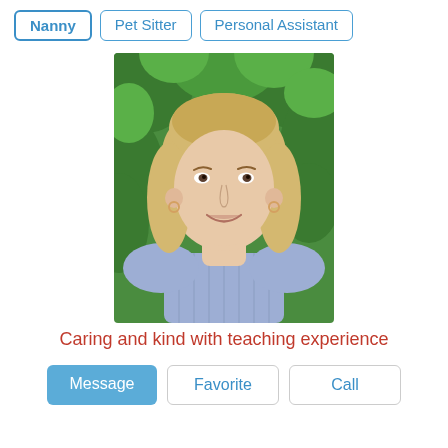Nanny
Pet Sitter
Personal Assistant
[Figure (photo): Portrait photo of a smiling blonde woman in a light purple/lavender ribbed top, standing in front of green foliage.]
Caring and kind with teaching experience
Message
Favorite
Call